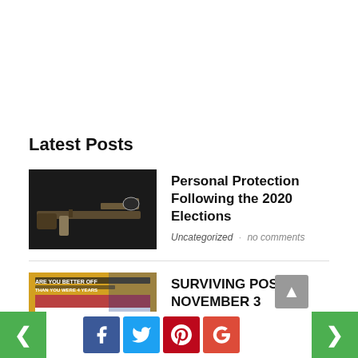Latest Posts
[Figure (photo): Dark background image of an AR-style rifle with scope and magazine]
Personal Protection Following the 2020 Elections
Uncategorized · no comments
[Figure (photo): Image with 'ARE YOU BETTER OFF THAN YOU WERE 4 YEARS AGO' text on patriotic background with eagle seal]
SURVIVING POST NOVEMBER 3 ELECTIONS